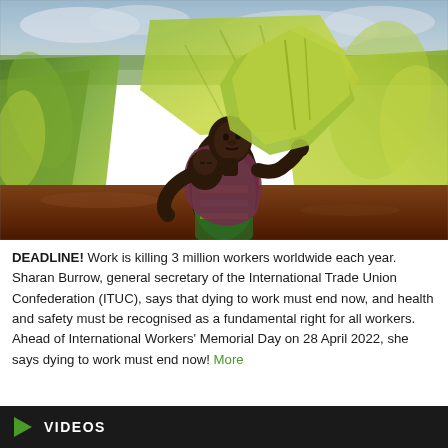[Figure (photo): A woman carrying a baby on her back and large green leaves (likely tobacco) over her shoulder, standing in a cultivated field. The background shows lush green vegetation and an overcast sky.]
DEADLINE! Work is killing 3 million workers worldwide each year. Sharan Burrow, general secretary of the International Trade Union Confederation (ITUC), says that dying to work must end now, and health and safety must be recognised as a fundamental right for all workers. Ahead of International Workers' Memorial Day on 28 April 2022, she says dying to work must end now! More
VIDEOS